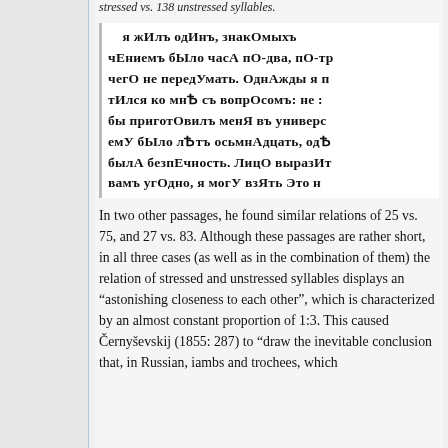stressed vs. 138 unstressed syllables.
[Figure (illustration): Scanned image of old Russian text with stress marks rendered in bold capital letters for stressed vowels. Text reads: я жИлъ одИнъ, знакОмыхъ чЕниемъ бЫло часА пО-два, пО-тр чегО не передУмать. ОднАжды я п тИлся ко мнѢ съ вопрОсомъ: не : бы приготОвилъ менЯ въ универск емУ бЫло лѢтъ осьмнАдцать, одѢ былА безпЕчность. ЛицО выразИт вамъ угОдно, я могУ взЯть Это н]
In two other passages, he found similar relations of 25 vs. 75, and 27 vs. 83. Although these passages are rather short, in all three cases (as well as in the combination of them) the relation of stressed and unstressed syllables displays an “astonishing closeness to each other”, which is characterized by an almost constant proportion of 1:3. This caused Černyševskij (1855: 287) to “draw the inevitable conclusion that, in Russian, iambs and trochees, which